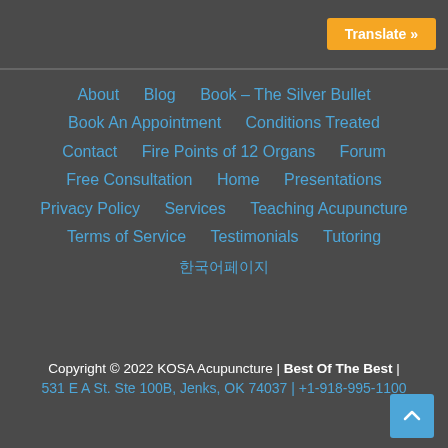Translate »
About
Blog
Book – The Silver Bullet
Book An Appointment
Conditions Treated
Contact
Fire Points of 12 Organs
Forum
Free Consultation
Home
Presentations
Privacy Policy
Services
Teaching Acupuncture
Terms of Service
Testimonials
Tutoring
한국어페이지
Copyright © 2022 KOSA Acupuncture | Best Of The Best | 531 E A St. Ste 100B, Jenks, OK 74037 | +1-918-995-1100